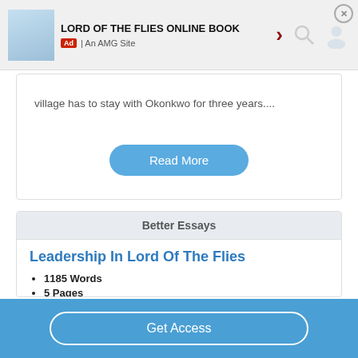[Figure (other): Ad banner for Lord of the Flies Online Book, An AMG Site, with close button, arrow, search and user icons]
village has to stay with Okonkwo for three years....
Read More
Better Essays
Leadership In Lord Of The Flies
1185 Words
5 Pages
The power struggle proceeds to chaos, an ethical war between the civil mindset in which these British boys were
Get Access